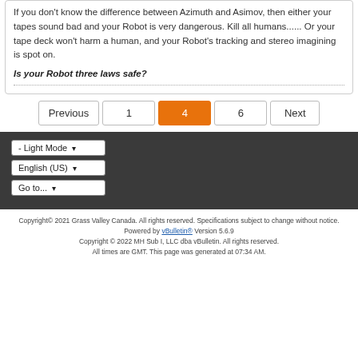If you don't know the difference between Azimuth and Asimov, then either your tapes sound bad and your Robot is very dangerous. Kill all humans...... Or your tape deck won't harm a human, and your Robot's tracking and stereo imagining is spot on.
Is your Robot three laws safe?
Previous 1 4 6 Next
- Light Mode
English (US)
Go to...
Copyright© 2021 Grass Valley Canada. All rights reserved. Specifications subject to change without notice. Powered by vBulletin® Version 5.6.9 Copyright © 2022 MH Sub I, LLC dba vBulletin. All rights reserved. All times are GMT. This page was generated at 07:34 AM.